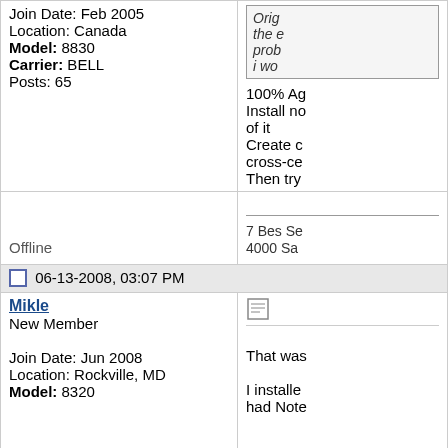Join Date: Feb 2005
Location: Canada
Model: 8830
Carrier: BELL
Posts: 65
Offline
100% Ag... Install no... of it Create c... cross-ce... Then try...
7 Bes Se... 4000 Sa...
06-13-2008, 03:07 PM
Mikle
New Member
Join Date: Jun 2008
Location: Rockville, MD
Model: 8320
That was...
I installe... had Note...